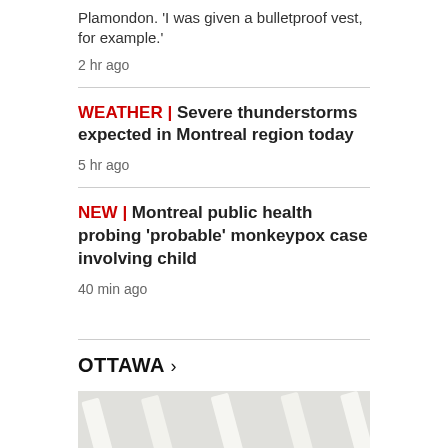Plamondon. 'I was given a bulletproof vest, for example.'
2 hr ago
WEATHER | Severe thunderstorms expected in Montreal region today
5 hr ago
NEW | Montreal public health probing 'probable' monkeypox case involving child
40 min ago
OTTAWA >
[Figure (photo): Interior ceiling of a building showing fluorescent light fixtures]